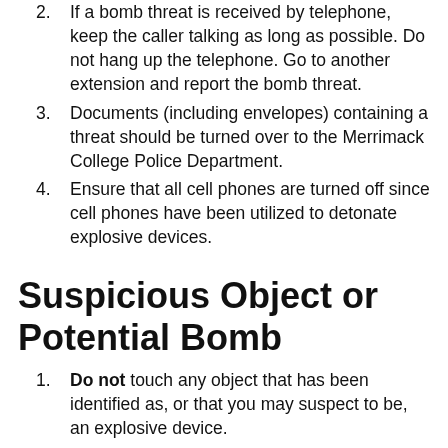If a bomb threat is received by telephone, keep the caller talking as long as possible. Do not hang up the telephone. Go to another extension and report the bomb threat.
Documents (including envelopes) containing a threat should be turned over to the Merrimack College Police Department.
Ensure that all cell phones are turned off since cell phones have been utilized to detonate explosive devices.
Suspicious Object or Potential Bomb
Do not touch any object that has been identified as, or that you may suspect to be, an explosive device.
Do not open drawers or cabinets or turn lights